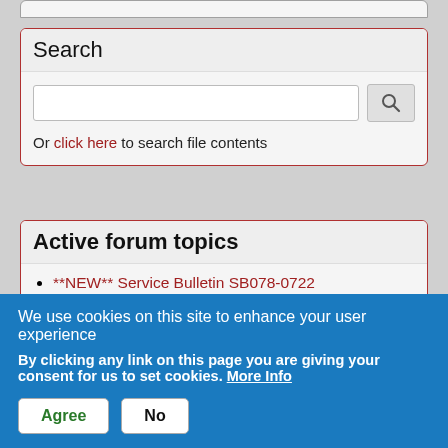Search
Or click here to search file contents
Active forum topics
**NEW** Service Bulletin SB078-0722
Asheville NC LOBO Landing 2022 October 5-8
New Door lock?
September Training Fly-in
We use cookies on this site to enhance your user experience
By clicking any link on this page you are giving your consent for us to set cookies. More Info
Agree   No